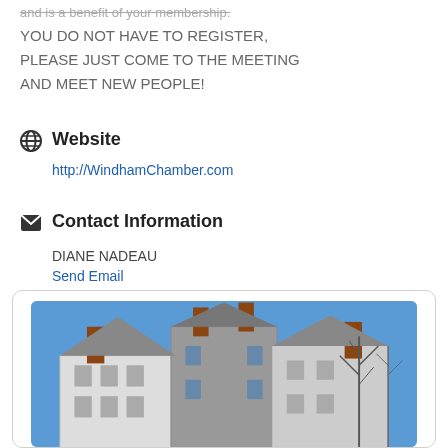and is a benefit of your membership. YOU DO NOT HAVE TO REGISTER, PLEASE JUST COME TO THE MEETING AND MEET NEW PEOPLE!
Website
http://WindhamChamber.com
Contact Information
DIANE NADEAU
Send Email
[Figure (photo): Photo of a historic colonial-style stone and white building with multiple chimneys against a clear blue sky, with bare trees visible.]